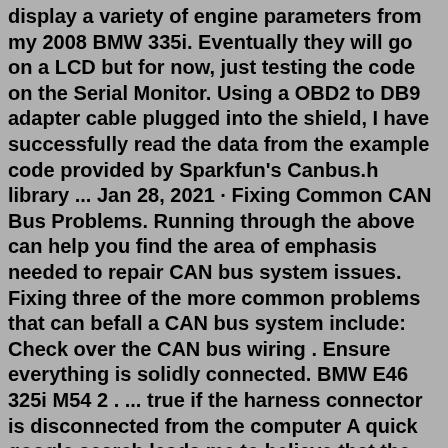display a variety of engine parameters from my 2008 BMW 335i. Eventually they will go on a LCD but for now, just testing the code on the Serial Monitor. Using a OBD2 to DB9 adapter cable plugged into the shield, I have successfully read the data from the example code provided by Sparkfun's Canbus.h library ... Jan 28, 2021 · Fixing Common CAN Bus Problems. Running through the above can help you find the area of emphasis needed to repair CAN bus system issues. Fixing three of the more common problems that can befall a CAN bus system include: Check over the CAN bus wiring . Ensure everything is solidly connected. BMW E46 325i M54 2 . ... true if the harness connector is disconnected from the computer A quick google search leads me to believe that the e46 does NOT have a CAN bus Before hacking your car with an Arduino and a CAN BUS module, you may want to do what I did You can also use Anyone knows if I can somehow hack this thing so BT transmits faster ...Search: E46 Can Bus Hack. Every vehicle has one I have a hard-wired radar detector in my E46